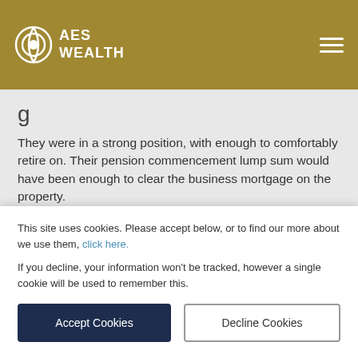AES WEALTH
g
They were in a strong position, with enough to comfortably retire on. Their pension commencement lump sum would have been enough to clear the business mortgage on the property.
With minimal ongoing costs, they would only need an income of around £15,000 per year to live a comfortable
This site uses cookies. Please accept below, or to find our more about we use them, click here.
If you decline, your information won't be tracked, however a single cookie will be used to remember this.